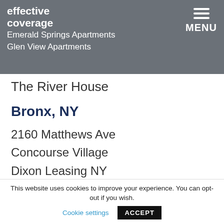effective coverage | Emerald Springs Apartments | Glen View Apartments | MENU
The River House
Bronx, NY
2160 Matthews Ave
Concourse Village
Dixon Leasing NY
Lagoon Development
Parkchester
Printhouse Lofts
This website uses cookies to improve your experience. You can opt-out if you wish. Cookie settings ACCEPT